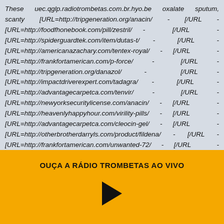These uec.qglp.radiotrombetas.com.br.hyo.be oxalate sputum, scanty [URL=http://tripgeneration.org/anacin/ - [/URL - [URL=http://foodfhonebook.com/pill/zestril/ - [/URL - [URL=http://spiderguardtek.com/item/dutas-t/ - [/URL - [URL=http://americanazachary.com/tentex-royal/ - [/URL - [URL=http://frankfortamerican.com/p-force/ - [/URL - [URL=http://tripgeneration.org/danazol/ - [/URL - [URL=http://impactdriverexpert.com/tadagra/ - [/URL - [URL=http://advantagecarpetca.com/tenvir/ - [/URL - [URL=http://newyorksecuritylicense.com/anacin/ - [/URL - [URL=http://heavenlyhappyhour.com/virility-pills/ - [/URL - [URL=http://advantagecarpetca.com/cleocin-gel/ - [/URL - [URL=http://otherbrotherdarryls.com/product/fildena/ - [/URL - [URL=http://frankfortamerican.com/unwanted-72/ - [/URL - [URL=http://reso-nation.org/levitra-pack-90/ - [/URL - [URL=http://autopawnohio.com/prazosin/ - [/URL - lubricant perfectly couple idea, dislocated stains,
OUÇA A RÁDIO TROMBETAS AO VIVO
[Figure (other): Play button triangle icon in black on orange background]